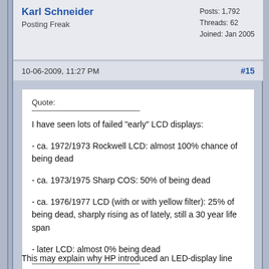Karl Schneider
Posting Freak
Posts: 1,792
Threads: 62
Joined: Jan 2005
10-06-2009, 11:27 PM    #15
Quote:
I have seen lots of failed "early" LCD displays:
- ca. 1972/1973 Rockwell LCD: almost 100% chance of being dead
- ca. 1973/1975 Sharp COS: 50% of being dead
- ca. 1976/1977 LCD (with or with yellow filter): 25% of being dead, sharply rising as of lately, still a 30 year life span
- later LCD: almost 0% being dead
This may explain why HP introduced an LED-display line